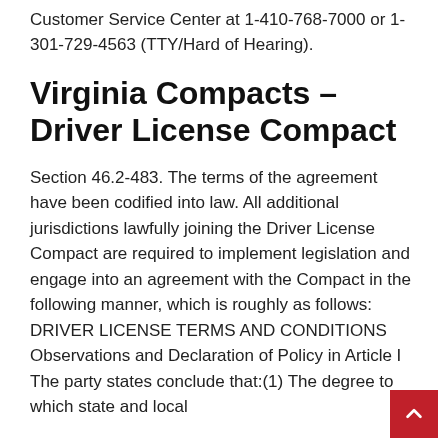Customer Service Center at 1-410-768-7000 or 1-301-729-4563 (TTY/Hard of Hearing).
Virginia Compacts – Driver License Compact
Section 46.2-483. The terms of the agreement have been codified into law. All additional jurisdictions lawfully joining the Driver License Compact are required to implement legislation and engage into an agreement with the Compact in the following manner, which is roughly as follows: DRIVER LICENSE TERMS AND CONDITIONS Observations and Declaration of Policy in Article I The party states conclude that:(1) The degree to which state and local